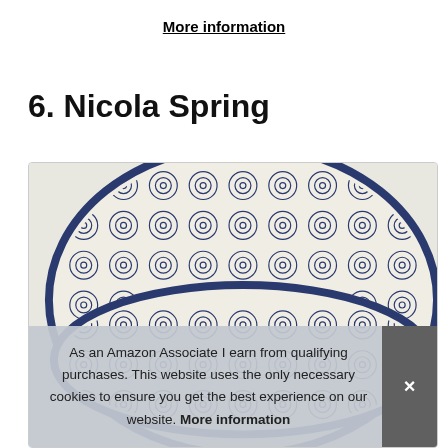More information
6. Nicola Spring
[Figure (photo): Stack of blue and white patterned ceramic plates with floral/circular decorative motifs, shot from above at a slight angle inside a white-bordered box]
As an Amazon Associate I earn from qualifying purchases. This website uses the only necessary cookies to ensure you get the best experience on our website. More information